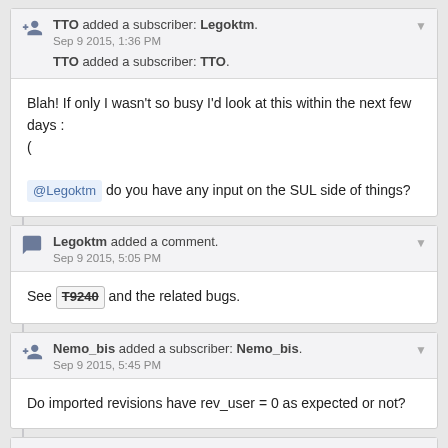TTO added a subscriber: Legoktm. Sep 9 2015, 1:36 PM
TTO added a subscriber: TTO.
Blah! If only I wasn't so busy I'd look at this within the next few days :(
@Legoktm do you have any input on the SUL side of things?
Legoktm added a comment. Sep 9 2015, 5:05 PM
See T9240 and the related bugs.
Nemo_bis added a subscriber: Nemo_bis. Sep 9 2015, 5:45 PM
Do imported revisions have rev_user = 0 as expected or not?
Scott added a comment.